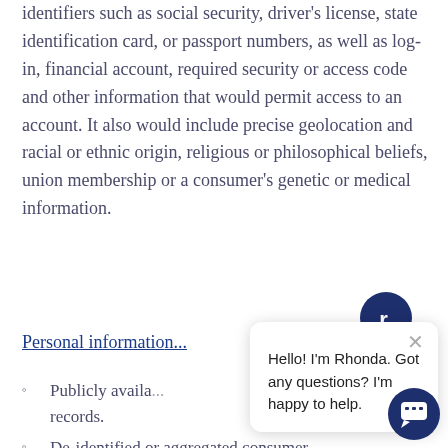identifiers such as social security, driver's license, state identification card, or passport numbers, as well as log-in, financial account, required security or access code and other information that would permit access to an account. It also would include precise geolocation and racial or ethnic origin, religious or philosophical beliefs, union membership or a consumer's genetic or medical information.
Personal informatio...
Publicly availa... records.
De-identified or aggregated consumer information.
[Figure (other): Chat widget overlay with avatar icon showing 'r.' logo in dark navy circle, a chat bubble containing 'Hello! I'm Rhonda. Got any questions? I'm happy to help.' with an X close button, and a dark navy circular chat button at bottom right.]